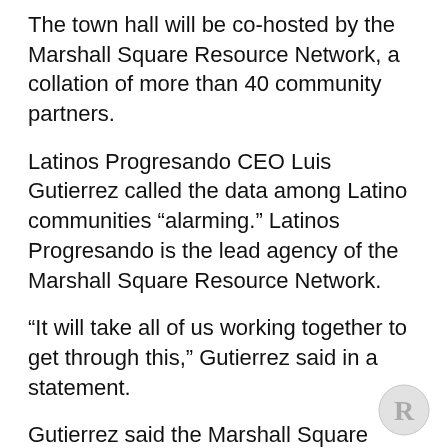The town hall will be co-hosted by the Marshall Square Resource Network, a collation of more than 40 community partners.
Latinos Progresando CEO Luis Gutierrez called the data among Latino communities “alarming.” Latinos Progresando is the lead agency of the Marshall Square Resource Network.
“It will take all of us working together to get through this,” Gutierrez said in a statement.
Gutierrez said the Marshall Square Network is working to share accurate information in Spanish.
Residents can access the town hall by dialing in at 312-535-8110 and using the access code 960